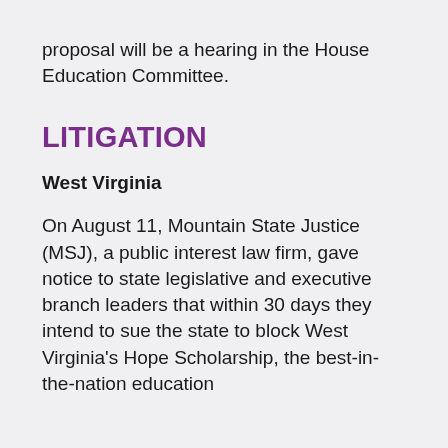proposal will be a hearing in the House Education Committee.
LITIGATION
West Virginia
On August 11, Mountain State Justice (MSJ), a public interest law firm, gave notice to state legislative and executive branch leaders that within 30 days they intend to sue the state to block West Virginia's Hope Scholarship, the best-in-the-nation education